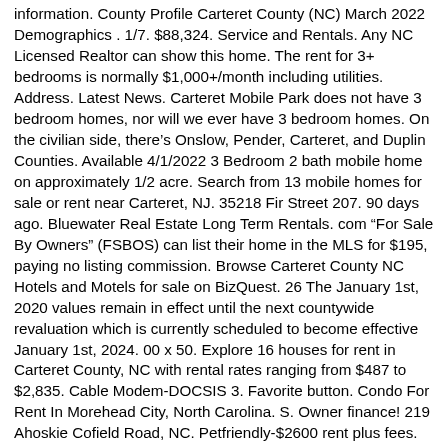information. County Profile Carteret County (NC) March 2022 Demographics . 1/7. $88,324. Service and Rentals. Any NC Licensed Realtor can show this home. The rent for 3+ bedrooms is normally $1,000+/month including utilities. Address. Latest News. Carteret Mobile Park does not have 3 bedroom homes, nor will we ever have 3 bedroom homes. On the civilian side, there's Onslow, Pender, Carteret, and Duplin Counties. Available 4/1/2022 3 Bedroom 2 bath mobile home on approximately 1/2 acre. Search from 13 mobile homes for sale or rent near Carteret, NJ. 35218 Fir Street 207. 90 days ago. Bluewater Real Estate Long Term Rentals. com "For Sale By Owners" (FSBOS) can list their home in the MLS for $195, paying no listing commission. Browse Carteret County NC Hotels and Motels for sale on BizQuest. 26 The January 1st, 2020 values remain in effect until the next countywide revaluation which is currently scheduled to become effective January 1st, 2024. 00 x 50. Explore 16 houses for rent in Carteret County, NC with rental rates ranging from $487 to $2,835. Cable Modem-DOCSIS 3. Favorite button. Condo For Rent In Morehead City, North Carolina. S. Owner finance! 219 Ahoskie Cofield Road, NC. Petfriendly-$2600 rent plus fees. Merrell Estate & Gardens. You will be required to provide documentation of residency/property ownership. ) (RLNE6752254) Pet policies: Small Dogs Allowed, Cats Allowed, Large Dogs Allowed. 1486 Highway 24 #Part Tract 5. C. Hudson Yards - Space for Pop up or Storage-IMMEDIATE Occupancy. Other · Manhattan, NY. com. . Some rules for the 4 bedroom homes go to part 5. For mobile